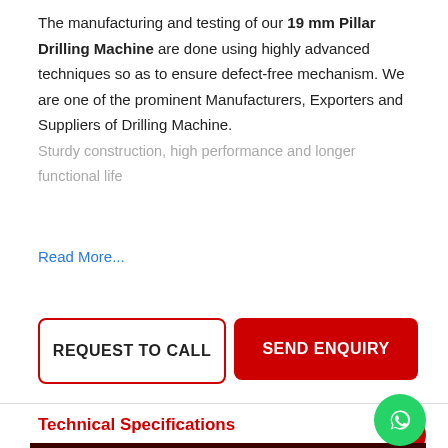The manufacturing and testing of our 19 mm Pillar Drilling Machine are done using highly advanced techniques so as to ensure defect-free mechanism. We are one of the prominent Manufacturers, Exporters and Suppliers of Drilling Machine. Sturdy construction, high performance and longer functional life ...
Read More...
REQUEST TO CALL | SEND ENQUIRY
Technical Specifications
| Specification of Machines | Drilling Machine 19mm. |
| --- | --- |
| Tapping Machine Capacity | 19 mm. |
| Drilling Capacity | 19 mm. |